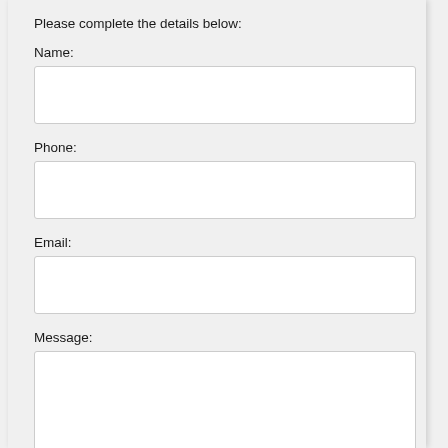Please complete the details below:
Name:
Phone:
Email:
Message: